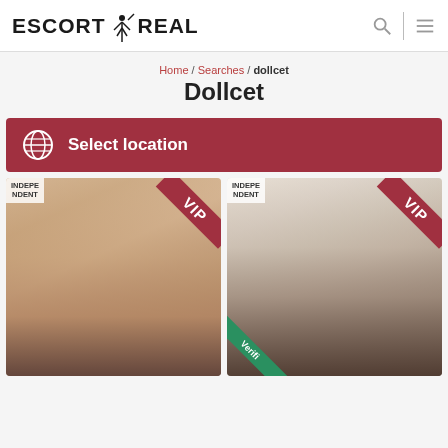ESCORT REAL
Home / Searches / dollcet
Dollcet
Select location
[Figure (photo): Two escort listing card photos side by side, each with INDEPENDENT badge and VIP ribbon. Right card also has a Verified ribbon at bottom left.]